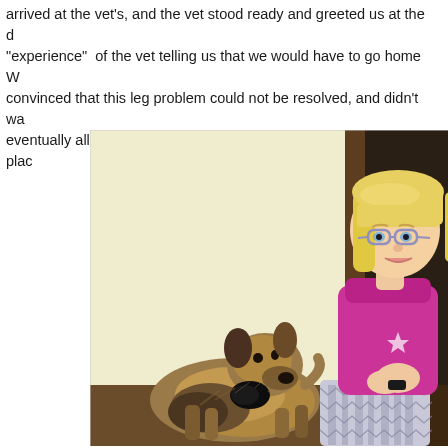arrived at the vet's, and the vet stood ready and greeted us at the d... "experience" of the vet telling us that we would have to go home W... convinced that this leg problem could not be resolved, and didn't wa... eventually all ended up in the room with the vet , while I tried to plac...
[Figure (photo): A young blonde girl wearing glasses and a pink turtleneck sweater with a patterned skirt, posing with a Cairn Terrier dog on a table. Light yellow/cream wall background with dark woodwork visible on the right.]